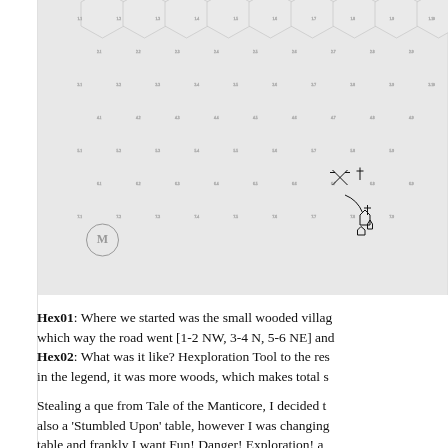[Figure (photo): Photograph of a hex grid map paper with small coordinate labels in each hexagon. Several hand-drawn symbols are visible in the lower-right area of the map, including crossed swords, a cross/dagger, a curved line, small house/building icons, and other adventure map markings. A circular logo or stamp is visible in the lower-left corner.]
Hex01: Where we started was the small wooded village, which way the road went [1-2 NW, 3-4 N, 5-6 NE] and ... Hex02: What was it like? Hexploration Tool to the rescue... in the legend, it was more woods, which makes total s...
Stealing a que from Tale of the Manticore, I decided t... also a 'Stumbled Upon' table, however I was changing... table and frankly I want Fun! Danger! Exploration! a...